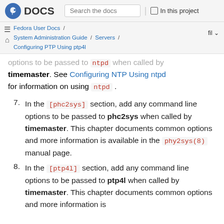Fedora DOCS | Search the docs | In this project
Fedora User Docs / System Administration Guide / Servers / Configuring PTP Using ptp4l | fil
options to be passed to ntpd when called by timemaster. See Configuring NTP Using ntpd for information on using ntpd.
7. In the [phc2sys] section, add any command line options to be passed to phc2sys when called by timemaster. This chapter documents common options and more information is available in the phy2sys(8) manual page.
8. In the [ptp4l] section, add any command line options to be passed to ptp4l when called by timemaster. This chapter documents common options and more information is